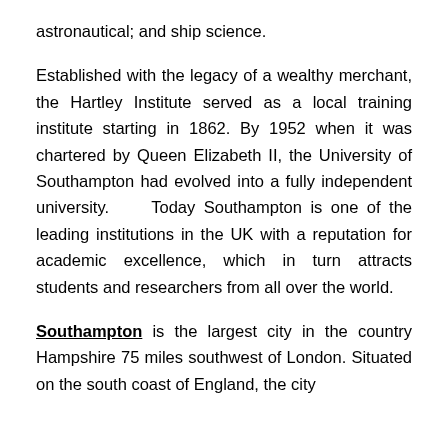astronautical; and ship science.
Established with the legacy of a wealthy merchant, the Hartley Institute served as a local training institute starting in 1862. By 1952 when it was chartered by Queen Elizabeth II, the University of Southampton had evolved into a fully independent university. Today Southampton is one of the leading institutions in the UK with a reputation for academic excellence, which in turn attracts students and researchers from all over the world.
Southampton is the largest city in the country Hampshire 75 miles southwest of London. Situated on the south coast of England, the city